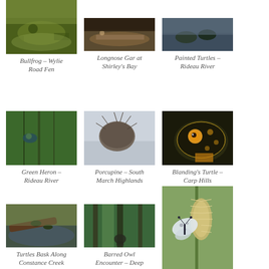[Figure (photo): Close-up of bullfrog in mossy/algae covered water at Wylie Road Fen]
Bullfrog – Wylie Road Fen
[Figure (photo): Longnose Gar fish at Shirley's Bay]
Longnose Gar at Shirley's Bay
[Figure (photo): Painted Turtles in the Rideau River]
Painted Turtles – Rideau River
[Figure (photo): Green Heron perched in trees along the Rideau River]
Green Heron – Rideau River
[Figure (photo): Porcupine in South March Highlands]
Porcupine – South March Highlands
[Figure (photo): Blanding's Turtle close-up in Carp Hills]
Blanding's Turtle – Carp Hills
[Figure (photo): Turtles basking along Constance Creek]
Turtles Bask Along Constance Creek
[Figure (photo): Barred Owl encounter in Deep River forest]
Barred Owl Encounter – Deep River
[Figure (photo): Butterfly on flowering plant, bottom right corner]